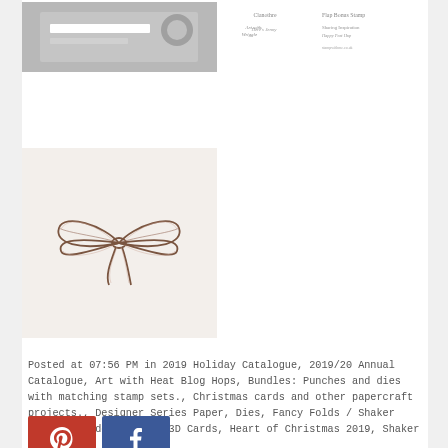[Figure (photo): Gray card mockup thumbnail with white lines and circular emboss element]
[Figure (photo): Small thumbnail of card with text and handwriting-style elements]
[Figure (photo): Brown twine bow on light beige background]
Posted at 07:56 PM in 2019 Holiday Catalogue, 2019/20 Annual Catalogue, Art with Heat Blog Hops, Bundles: Punches and dies with matching stamp sets., Christmas cards and other papercraft projects., Designer Series Paper, Dies, Fancy Folds / Shaker Cards / Slider Cards / 3D Cards, Heart of Christmas 2019, Shaker Cards | 🔗 Permalink | 💬 Comments (8)
[Figure (infographic): Pinterest red button icon]
[Figure (infographic): Facebook blue button icon]